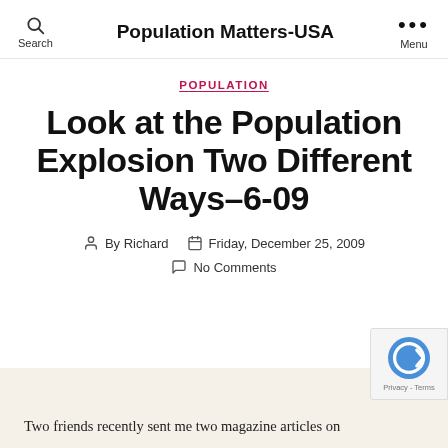Population Matters-USA
POPULATION
Look at the Population Explosion Two Different Ways–6-09
By Richard   Friday, December 25, 2009   No Comments
Two friends recently sent me two magazine articles on